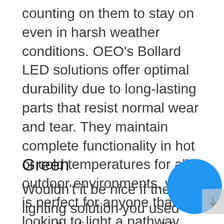counting on them to stay on even in harsh weather conditions. OEO's Bollard LED solutions offer optimal durability due to long-lasting parts that resist normal wear and tear. They maintain complete functionality in hot or cold temperatures for all outdoor environments, which is perfect for anyone that's looking to light a pathway that endures noticeable changes in weather conditions.
Green
Wouldn't it be nice if the lighting solution you used actually did some good for the world around you? With zero UV emissions and minimal infrared, and a complete absence of